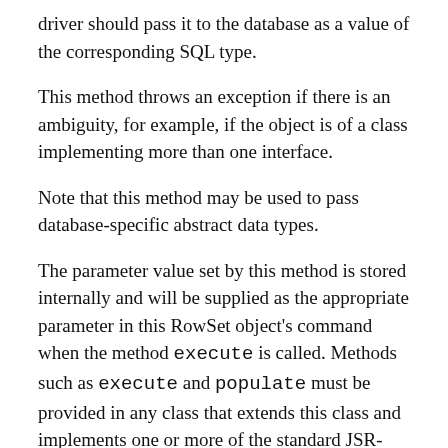driver should pass it to the database as a value of the corresponding SQL type.
This method throws an exception if there is an ambiguity, for example, if the object is of a class implementing more than one interface.
Note that this method may be used to pass database-specific abstract data types.
The parameter value set by this method is stored internally and will be supplied as the appropriate parameter in this RowSet object's command when the method execute is called. Methods such as execute and populate must be provided in any class that extends this class and implements one or more of the standard JSR-114 RowSet interfaces.
NOTE: JdbcRowSet does not require the populate method as it is undefined in this class.
After this method has been called, a call to the method getParams will return an object array of the current command parameters, which will